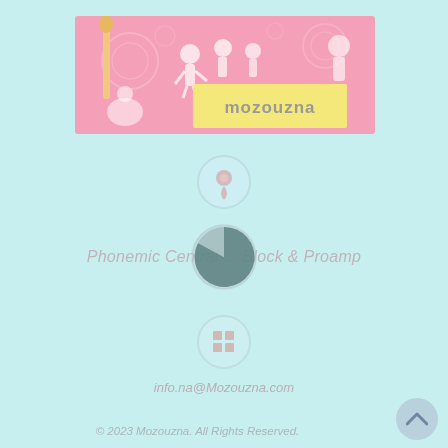[Figure (illustration): Pink banner with cartoon children characters and a yellow label showing 'mozouzna' logo text in the center-right area]
[Figure (other): Small circular icon with a pin/location marker inside, light blue tinted circle]
Phonemic Central ... Block & Proamp
[Figure (pie-chart): Dark teal/grey pie chart showing a large slice (roughly 75-80%) in dark teal color and remaining in lighter grey, rendered as circular icon]
[Figure (other): Small circular icon with a grid/table icon inside, light blue tinted circle]
info.na@Mozouzna.com
© 2023 Mozouzna. All Rights Reserved.